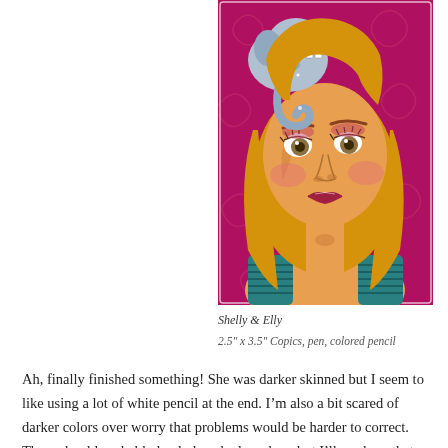[Figure (illustration): Illustration of a blonde girl named Shelly with a small elephant (Elly) sitting on her head/shoulder. The background is deep magenta/crimson with swirling patterns. The girl has large expressive eyes, rosy cheeks, and wears teal bracelets on both wrists. The elephant is light blue/gray with sparkly details. Art style is whimsical and stylized, done in Copics, pen, and colored pencil.]
Shelly & Elly
2.5″ x 3.5″ Copics, pen, colored pencil
Ah, finally finished something! She was darker skinned but I seem to like using a lot of white pencil at the end. I'm also a bit scared of darker colors over worry that problems would be harder to correct. There should probably be darker shadows here but I'll work on that for the next one.